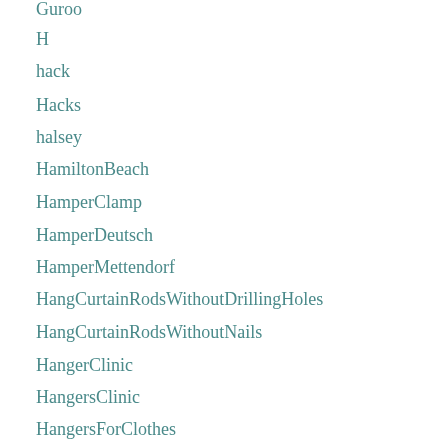Guroo
H
hack
Hacks
halsey
HamiltonBeach
HamperClamp
HamperDeutsch
HamperMettendorf
HangCurtainRodsWithoutDrillingHoles
HangCurtainRodsWithoutNails
HangerClinic
HangersClinic
HangersForClothes